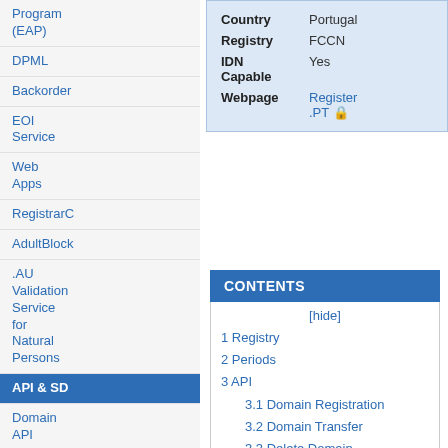Program (EAP)
DPML
Backorder
EOI Service
Web Apps
RegistrarC
AdultBlock
.AU Validation Service for Natural Persons
API & SD
Domain API
| Field | Value |
| --- | --- |
| Country | Portugal |
| Registry | FCCN |
| IDN Capable | Yes |
| Webpage | Register.PT 🔒 |
CONTENTS
[hide]
1 Registry
2 Periods
3 API
3.1 Domain Registration
3.2 Domain Transfer
3.3 Delete Domain
3.4 Restore Domain
3.5 Ownerchange
4 TLD specific
4.1 Registration
4.2 .PT simplified data validation
4.3 Transfer